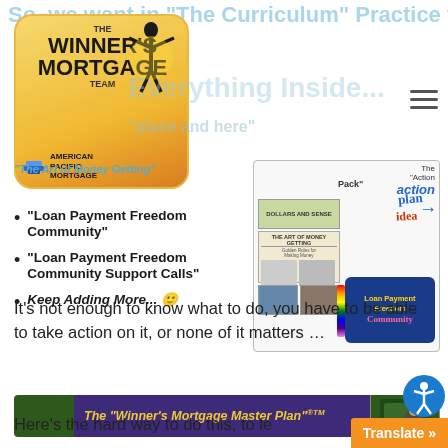[Figure (logo): Winner's Mortgage Team / American Pacific Mortgage logo, orange/yellow gradient rounded rectangle with figure arms raised]
“Loan Payment Freedom Community”
“Loan Payment Freedom Community Support Calls”
Keep Adding More... ☺
[Figure (illustration): Collage of books, newspaper, and laptop showing Loan Payment Freedom Community materials with Action Pack plan idea labels]
[Figure (screenshot): Banner: The “Winner’s Mortgage Master Plan”™ on dark green and purple background with video thumbnail]
It’s not enough to know what to do, you have to be able to take action on it, or none of it matters …
Here’s the hard way to do this, to le…